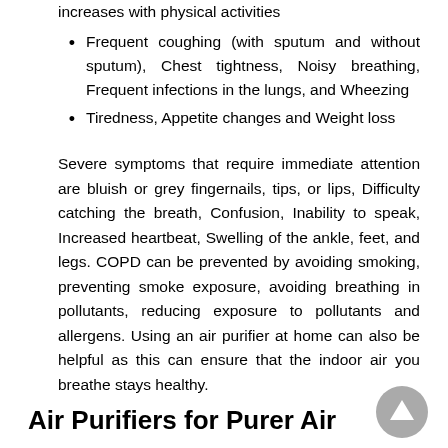increases with physical activities
Frequent coughing (with sputum and without sputum), Chest tightness, Noisy breathing, Frequent infections in the lungs, and Wheezing
Tiredness, Appetite changes and Weight loss
Severe symptoms that require immediate attention are bluish or grey fingernails, tips, or lips, Difficulty catching the breath, Confusion, Inability to speak, Increased heartbeat, Swelling of the ankle, feet, and legs. COPD can be prevented by avoiding smoking, preventing smoke exposure, avoiding breathing in pollutants, reducing exposure to pollutants and allergens. Using an air purifier at home can also be helpful as this can ensure that the indoor air you breathe stays healthy.
Air Purifiers for Purer Air